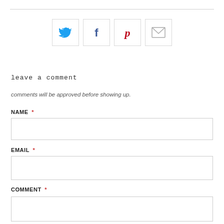[Figure (other): Social sharing icons: Twitter (blue bird), Facebook (blue f), Pinterest (red P), Email (gray envelope) — each in a outlined square box]
leave a comment
comments will be approved before showing up.
NAME *
EMAIL *
COMMENT *